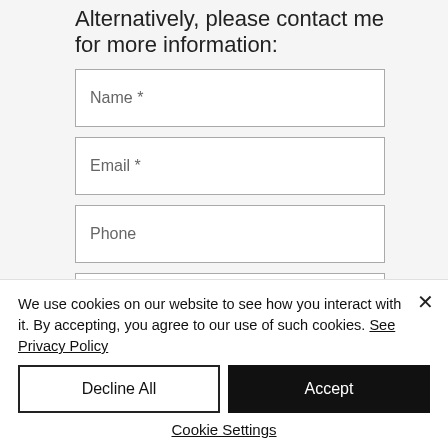Alternatively, please contact me for more information:
Name *
Email *
Phone
Subject
We use cookies on our website to see how you interact with it. By accepting, you agree to our use of such cookies. See Privacy Policy
Decline All
Accept
Cookie Settings